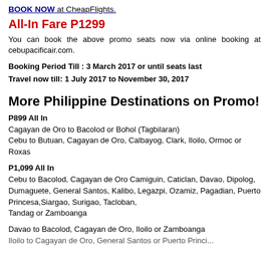BOOK NOW at CheapFlights.
All-In Fare P1299
You can book the above promo seats now via online booking at cebupacificair.com.
Booking Period Till : 3 March 2017 or until seats last
Travel now till: 1 July 2017 to November 30, 2017
More Philippine Destinations on Promo!
P899 All In
Cagayan de Oro to Bacolod or Bohol (Tagbilaran)
Cebu to Butuan, Cagayan de Oro, Calbayog, Clark, Iloilo, Ormoc or Roxas
P1,099 All In
Cebu to Bacolod, Cagayan de Oro Camiguin, Caticlan, Davao, Dipolog, Dumaguete, General Santos, Kalibo, Legazpi, Ozamiz, Pagadian, Puerto Princesa,Siargao, Surigao, Tacloban,
Tandag or Zamboanga
Davao to Bacolod, Cagayan de Oro, Iloilo or Zamboanga
Iloilo to Cagayan de Oro, General Santos or Puerto Princi...